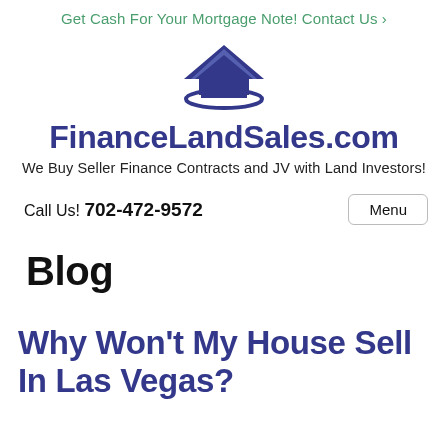Get Cash For Your Mortgage Note! Contact Us ›
[Figure (logo): House/home logo icon in dark blue/purple with a curved base line, representing FinanceLandSales.com]
FinanceLandSales.com
We Buy Seller Finance Contracts and JV with Land Investors!
Call Us! 702-472-9572
Menu
Blog
Why Won't My House Sell In Las Vegas?